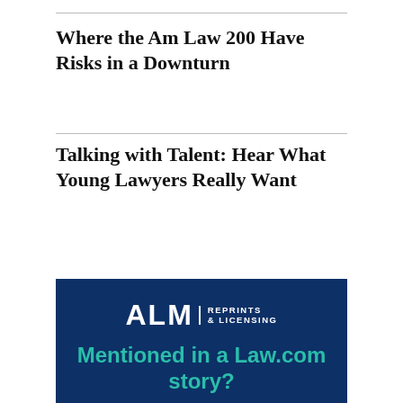Where the Am Law 200 Have Risks in a Downturn
Talking with Talent: Hear What Young Lawyers Really Want
[Figure (logo): ALM Reprints & Licensing advertisement banner on dark navy background with teal headline 'Mentioned in a Law.com story?' and body text about licensing legal content.]